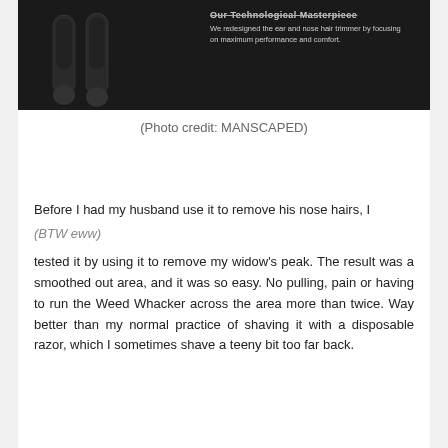[Figure (photo): Dark background product photo of an ear and nose hair trimmer (Weed Whacker) by MANSCAPED, with bold headline text 'Our Technological Masterpiece' and subtitle text 'We redesigned the ear and nose hair trimmer by focusing on maximum performance and comfort.']
(Photo credit: MANSCAPED)
Before I had my husband use it to remove his nose hairs, I
(BTW eww)
tested it by using it to remove my widow's peak. The result was a smoothed out area, and it was so easy. No pulling, pain or having to run the Weed Whacker across the area more than twice. Way better than my normal practice of shaving it with a disposable razor, which I sometimes shave a teeny bit too far back.